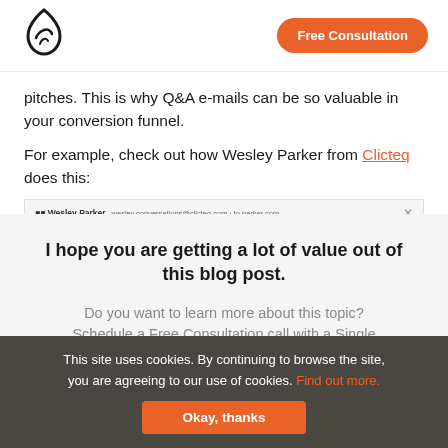Single Grain logo | Free Consultation
pitches. This is why Q&A e-mails can be so valuable in your conversion funnel.
For example, check out how Wesley Parker from Clicteq does this:
[Figure (screenshot): Partial email preview strip showing sender Wesley Parker and email address]
I hope you are getting a lot of value out of this blog post.
Do you want to learn more about this topic? Schedule a Free Consultation call with a Single Grain Expert now!
This site uses cookies. By continuing to browse the site, you are agreeing to our use of cookies. Find out more.
Okay, thanks